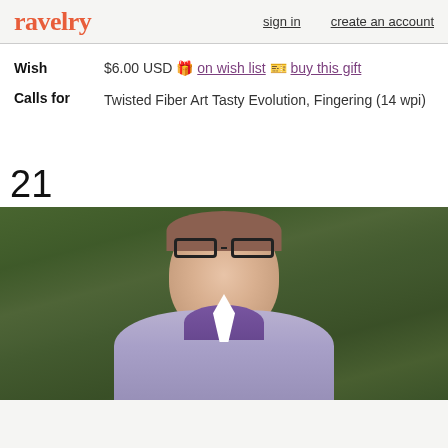ravelry | sign in | create an account
Wish  $6.00 USD 🎁 on wish list 🎫 buy this gift
Calls for  Twisted Fiber Art Tasty Evolution, Fingering (14 wpi)
21
[Figure (photo): Person wearing a light purple/lavender knitted cardigan with purple collar detail, smiling, wearing glasses, photographed outdoors with green foliage in background.]